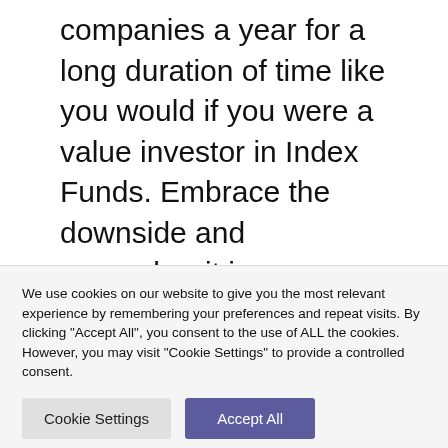companies a year for a long duration of time like you would if you were a value investor in Index Funds. Embrace the downside and remember it is a continuous learning journey.
We use cookies on our website to give you the most relevant experience by remembering your preferences and repeat visits. By clicking "Accept All", you consent to the use of ALL the cookies. However, you may visit "Cookie Settings" to provide a controlled consent.